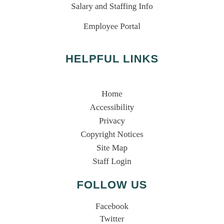Salary and Staffing Info
Employee Portal
HELPFUL LINKS
Home
Accessibility
Privacy
Copyright Notices
Site Map
Staff Login
FOLLOW US
Facebook
Twitter